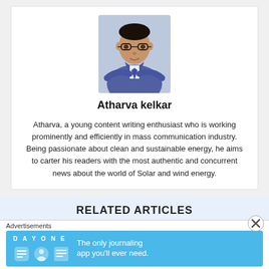[Figure (photo): Professional headshot of Atharva Kelkar, a young man wearing glasses and a blue suit with arms crossed, against a light background.]
Atharva kelkar
Atharva, a young content writing enthusiast who is working prominently and efficiently in mass communication industry. Being passionate about clean and sustainable energy, he aims to carter his readers with the most authentic and concurrent news about the world of Solar and wind energy.
RELATED ARTICLES
Advertisements
[Figure (screenshot): DayOne journaling app advertisement banner on blue background with icons and text: The only journaling app you'll ever need.]